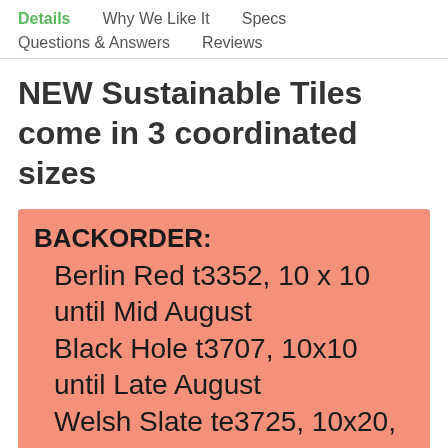Details  Why We Like It  Specs  Questions & Answers  Reviews
NEW Sustainable Tiles come in 3 coordinated sizes
BACKORDER: Berlin Red t3352, 10 x 10 until Mid August  Black Hole t3707, 10x10 until Late August  Welsh Slate te3725, 10x20,